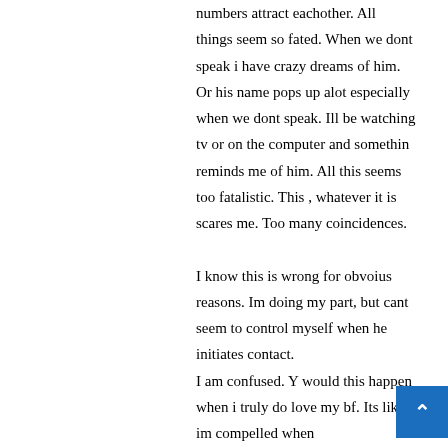numbers attract eachother. All things seem so fated. When we dont speak i have crazy dreams of him. Or his name pops up alot especially when we dont speak. Ill be watching tv or on the computer and somethin reminds me of him. All this seems too fatalistic. This , whatever it is scares me. Too many coincidences.
I know this is wrong for obvoius reasons. Im doing my part, but cant seem to control myself when he initiates contact.
I am confused. Y would this happen when i truly do love my bf. Its like im compelled when